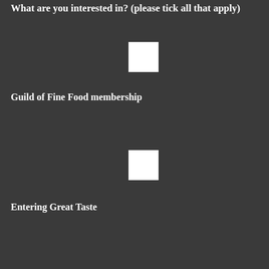What are you interested in? (please tick all that apply)
Guild of Fine Food membership
Entering Great Taste
Great Taste results & news
Entering World Cheese Awards
World Cheese Awards results & news